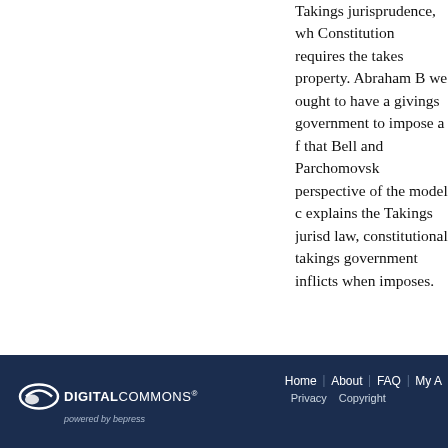Takings jurisprudence, wh Constitution requires the takes property. Abraham B we ought to have a givings government to impose a f that Bell and Parchomovsks perspective of the model c explains the Takings jurisd law, constitutional takings government inflicts when imposes.
DIGITAL COMMONS powered by bepress | Home | About | FAQ | My A | Privacy | Copyright